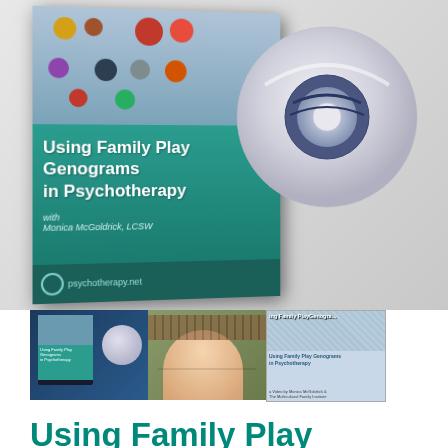[Figure (photo): Product image of a DVD case titled 'Using Family Play Genograms in Psychotherapy' with Monica McGoldrick, LCSW shown on psychotherapy.net, accompanied by a DVD disc on the right side. The case cover has a teal/dark background with colorful figurines representing a family genogram.]
[Figure (photo): Three thumbnail images: the DVD product set on the left, a woman (presumably Monica McGoldrick) smiling in a library/office setting in the middle, and a book cover 'Using Family Play Genograms in Psychotherapy' on the right.]
Using Family Play